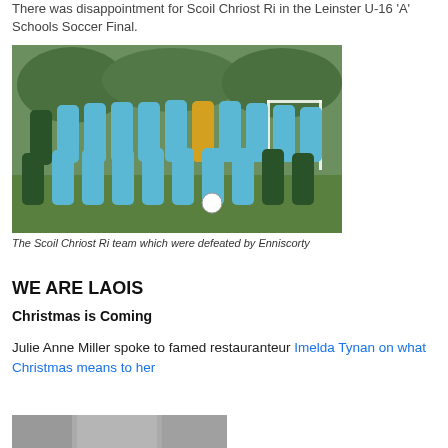There was disappointment for Scoil Chriost Ri in the Leinster U-16 'A' Schools Soccer Final.
[Figure (photo): Group photo of the Scoil Chriost Ri girls soccer team outdoors on a pitch, wearing blue jerseys, with trees and a goalpost in the background.]
The Scoil Chriost Ri team which were defeated by Enniscorty
WE ARE LAOIS
Christmas is Coming
Julie Anne Miller spoke to famed restauranteur Imelda Tynan on what Christmas means to her
[Figure (photo): Partial photo at the bottom of the page, partially cut off.]